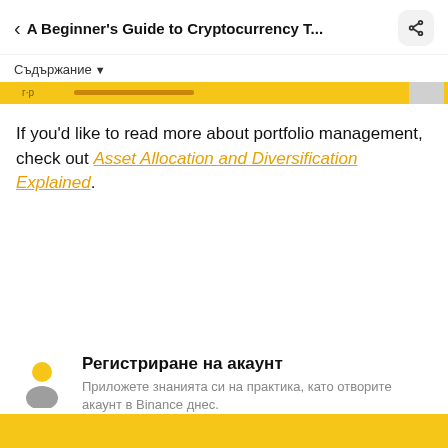< A Beginner's Guide to Cryptocurrency T...
Съдържание ▾
If you'd like to read more about portfolio management, check out Asset Allocation and Diversification Explained.
Регистриране на акаунт
Приложете знанията си на практика, като отворите акаунт в Binance днес.